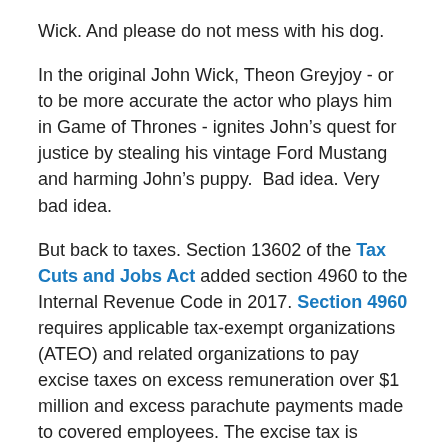Wick. And please do not mess with his dog.
In the original John Wick, Theon Greyjoy - or to be more accurate the actor who plays him in Game of Thrones - ignites John’s quest for justice by stealing his vintage Ford Mustang and harming John’s puppy.  Bad idea. Very bad idea.
But back to taxes. Section 13602 of the Tax Cuts and Jobs Act added section 4960 to the Internal Revenue Code in 2017. Section 4960 requires applicable tax-exempt organizations (ATEO) and related organizations to pay excise taxes on excess remuneration over $1 million and excess parachute payments made to covered employees. The excise tax is important to credit unions - as ATEOs -  and their related CUSOs because they may be subject to the excise tax. Both the NAFCU Compliance team and NAFCU Services blogged about the excise tax last year.